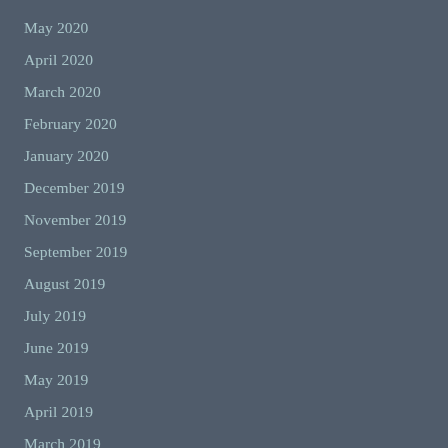May 2020
April 2020
March 2020
February 2020
January 2020
December 2019
November 2019
September 2019
August 2019
July 2019
June 2019
May 2019
April 2019
March 2019
February 2019
December 2018
November 2018
September 2018
August 2018
July 2018
June 2018